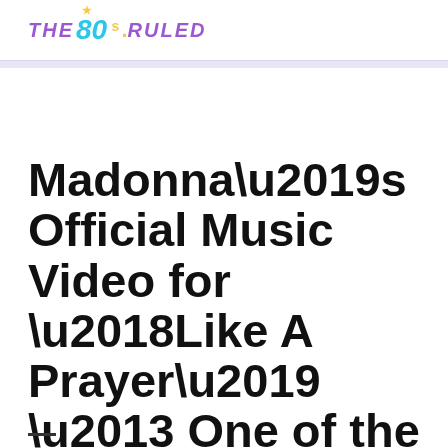THE 80s RULED
Madonna’s Official Music Video for ‘Like A Prayer’ – One of the Best Songs of the ’80s
June 15, 2017 By the80sruled Leave a Comment